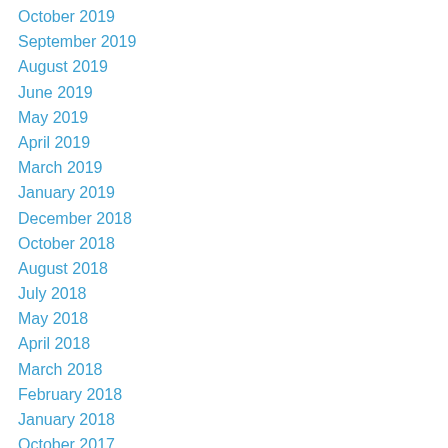October 2019
September 2019
August 2019
June 2019
May 2019
April 2019
March 2019
January 2019
December 2018
October 2018
August 2018
July 2018
May 2018
April 2018
March 2018
February 2018
January 2018
October 2017
September 2017
August 2017